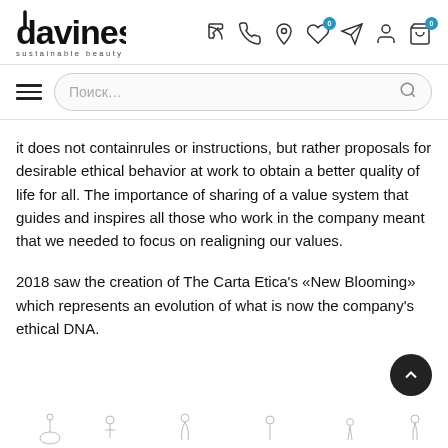[Figure (logo): Davines sustainable beauty logo with navigation icons (phone, location, heart with 0 badge, paper plane, person, shopping bag with 0 badge)]
[Figure (screenshot): Search bar with hamburger menu icon and search input placeholder 'Поиск...']
it does not containrules or instructions, but rather proposals for desirable ethical behavior at work to obtain a better quality of life for all. The importance of sharing of a value system that guides and inspires all those who work in the company meant that we needed to focus on realigning our values.
2018 saw the creation of The Carta Etica's «New Blooming» which represents an evolution of what is now the company's ethical DNA.
[Figure (illustration): Decorative line illustrations at the bottom of the page showing small hand-drawn figures/icons]